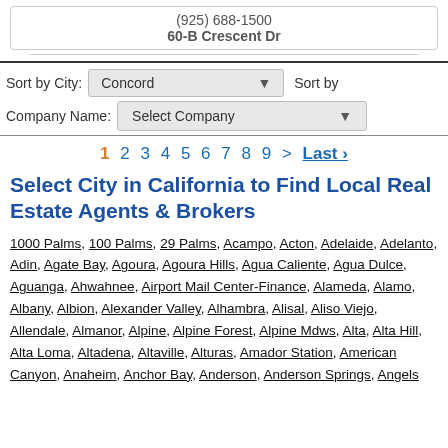(925) 688-1500
60-B Crescent Dr
Sort by City: Concord   Sort by Company Name: Select Company
1 2 3 4 5 6 7 8 9 > Last ›
Select City in California to Find Local Real Estate Agents & Brokers
1000 Palms, 100 Palms, 29 Palms, Acampo, Acton, Adelaide, Adelanto, Adin, Agate Bay, Agoura, Agoura Hills, Agua Caliente, Agua Dulce, Aguanga, Ahwahnee, Airport Mail Center-Finance, Alameda, Alamo, Albany, Albion, Alexander Valley, Alhambra, Alisal, Aliso Viejo, Allendale, Almanor, Alpine, Alpine Forest, Alpine Mdws, Alta, Alta Hill, Alta Loma, Altadena, Altaville, Alturas, Amador Station, American Canyon, Anaheim, Anchor Bay, Anderson, Anderson Springs, Angels Camp, Angelus Oaks, Antelope, Antoch, Apple Valley, Applegate, ...